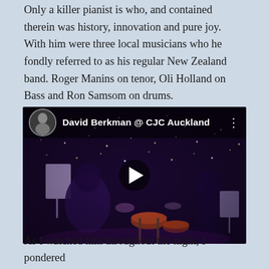Only a killer pianist is who, and contained therein was history, innovation and pure joy. With him were three local musicians who he fondly referred to as his regular New Zealand band. Roger Manins on tenor, Oli Holland on Bass and Ron Samsom on drums.
[Figure (screenshot): YouTube video embed showing 'David Berkman @ CJC Auckland' — a jazz performance video with musicians on a dimly lit purple stage, featuring a play button overlay in the center. The video thumbnail shows the band performing with drums, bass, and other instruments visible.]
As I watched him throughout the night, I pondered